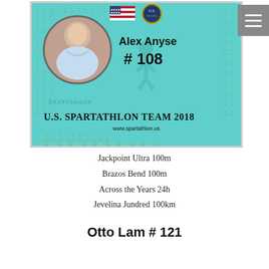[Figure (photo): U.S. Spartathlon Team 2018 membership card for Alex Anyse #108. Teal background with running figure patterns, circular portrait photo, US flag and team logo at top, name and number, team name and website www.spartathlon.us at bottom.]
Jackpoint Ultra 100m
Brazos Bend 100m
Across the Years 24h
Jevelina Jundred 100km
Otto Lam # 121